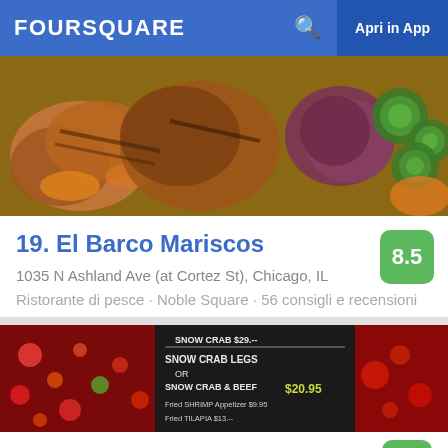FOURSQUARE  Apri in App
[Figure (photo): Food photo showing grilled meats, seafood and vegetables including zucchini slices]
19. El Barco Mariscos
1035 N Ashland Ave (at Cortez St), Chicago, IL
Ristorante di pesce · Noble Square · 56 consigli e recensioni
[Figure (photo): Restaurant interior/menu board photo showing: SNOW CRAB $29, SNOW CRAB LEGS OR SNOW CRAB & BEEF $20.95, Fried SHRIMP Appetizer $9.95, Fried TILAPIA $13.--]
20. Ha K Sh...